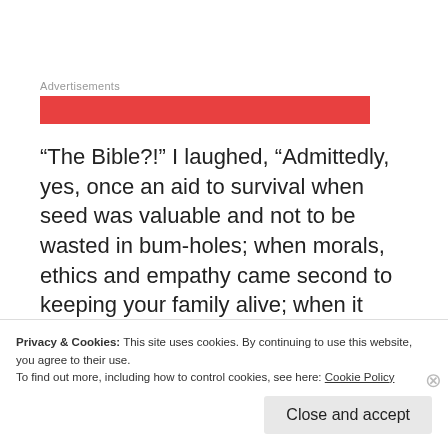Advertisements
[Figure (other): Red advertisement banner]
“The Bible?!” I laughed, “Admittedly, yes, once an aid to survival when seed was valuable and not to be wasted in bum-holes; when morals, ethics and empathy came second to keeping your family alive; when it was necessary for the savvy to invent a deity to keep the wicked from their crops and
Privacy & Cookies: This site uses cookies. By continuing to use this website, you agree to their use.
To find out more, including how to control cookies, see here: Cookie Policy
Close and accept